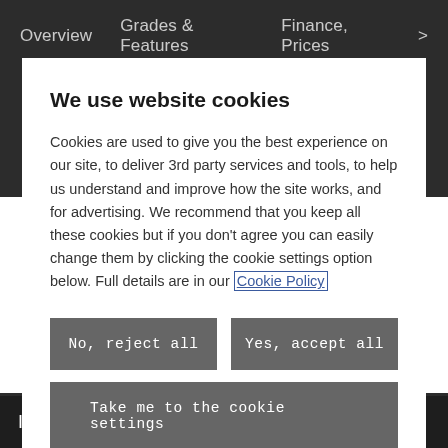Overview   Grades & Features   Finance, Prices   >
We use website cookies
Cookies are used to give you the best experience on our site, to deliver 3rd party services and tools, to help us understand and improve how the site works, and for advertising. We recommend that you keep all these cookies but if you don't agree you can easily change them by clicking the cookie settings option below. Full details are in our Cookie Policy
No, reject all
Yes, accept all
Take me to the cookie settings
of optional equipment to help you get the most from your car. From styling accessories and smart technology to practical features designed for all
I want to...  +